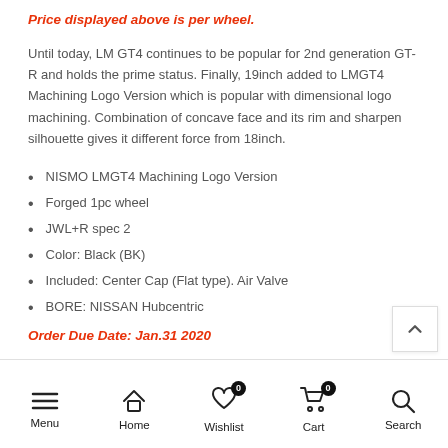Price displayed above is per wheel.
Until today, LM GT4 continues to be popular for 2nd generation GT-R and holds the prime status. Finally, 19inch added to LMGT4 Machining Logo Version which is popular with dimensional logo machining. Combination of concave face and its rim and sharpen silhouette gives it different force from 18inch.
NISMO LMGT4 Machining Logo Version
Forged 1pc wheel
JWL+R spec 2
Color: Black (BK)
Included: Center Cap (Flat type). Air Valve
BORE: NISSAN Hubcentric
Order Due Date: Jan.31 2020
Menu  Home  Wishlist 0  Cart 0  Search